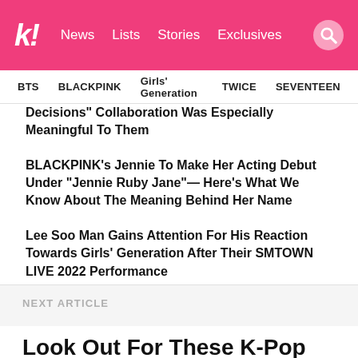k! News  Lists  Stories  Exclusives
BTS  BLACKPINK  Girls' Generation  TWICE  SEVENTEEN
Decisions" Collaboration Was Especially Meaningful To Them
BLACKPINK's Jennie To Make Her Acting Debut Under "Jennie Ruby Jane"— Here's What We Know About The Meaning Behind Her Name
Lee Soo Man Gains Attention For His Reaction Towards Girls' Generation After Their SMTOWN LIVE 2022 Performance
NEXT ARTICLE
Look Out For These K-Pop Group Collaborations At This